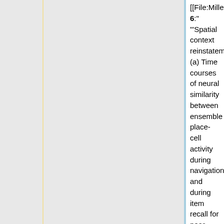[[File:MillerF3.png|right|thumb|800px|"Fig. 6:" "'Spatial context reinstatement.'" (a) Time courses of neural similarity between ensemble place-cell activity during navigation and during item recall for near, middle, and far spatial distance bins. Shaded regions indicate SEM across recalled items, the horizontal bars indicate statistically